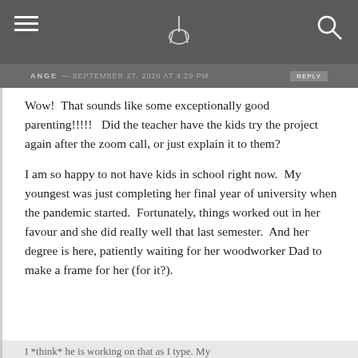ANGE — SEPTEMBER 27, 2020 AT 4:29 PM
Wow!  That sounds like some exceptionally good parenting!!!!!   Did the teacher have the kids try the project again after the zoom call, or just explain it to them?
I am so happy to not have kids in school right now.  My youngest was just completing her final year of university when the pandemic started.  Fortunately, things worked out in her favour and she did really well that last semester.  And her degree is here, patiently waiting for her woodworker Dad to make a frame for her (for it?).
I *think* he is working on that as I type. My heart goes out to all the parents who have to make